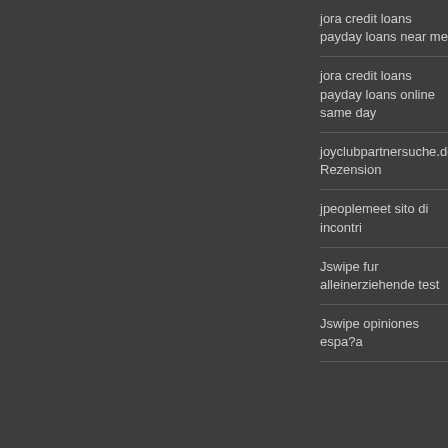jora credit loans payday loans near me
jora credit loans payday loans online same day
joyclubpartnersuche.de Rezension
jpeoplemeet sito di incontri
Jswipe fur alleinerziehende test
Jswipe opiniones espa?a